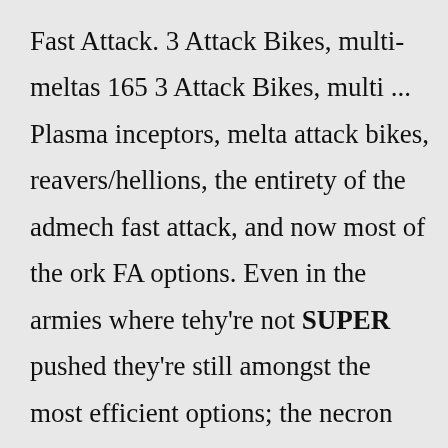Fast Attack. 3 Attack Bikes, multi-meltas 165 3 Attack Bikes, multi ... Plasma inceptors, melta attack bikes, reavers/hellions, the entirety of the admech fast attack, and now most of the ork FA options. Even in the armies where tehy're not SUPER pushed they're still amongst the most efficient options; the necron bike things, zephyrim, and plague drones all make reasonably frequent